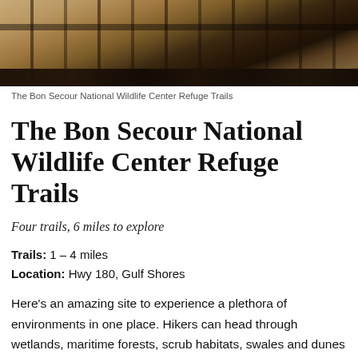[Figure (photo): Close-up photo of wooden fence rails with dark weathered wood against lighter planks, outdoor nature setting]
The Bon Secour National Wildlife Center Refuge Trails
The Bon Secour National Wildlife Center Refuge Trails
Four trails, 6 miles to explore
Trails: 1 – 4 miles
Location: Hwy 180, Gulf Shores
Here's an amazing site to experience a plethora of environments in one place. Hikers can head through wetlands, maritime forests, scrub habitats, swales and dunes — and see a range of animals